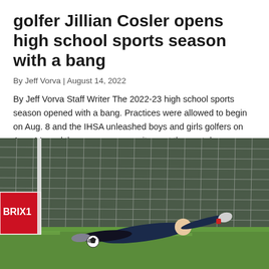golfer Jillian Cosler opens high school sports season with a bang
By Jeff Vorva | August 14, 2022
By Jeff Vorva Staff Writer The 2022-23 high school sports season opened with a bang. Practices were allowed to begin on Aug. 8 and the IHSA unleashed boys and girls golfers on Aug. 11; and there was some excitement the next day. Sandburg's girls golf team participated in the Prep Tour Showcase at Hickory Point…
[Figure (photo): A soccer goalkeeper diving to make a save near a goal net, wearing dark clothing, with a red and white ball nearby. A 'BRIX1' advertisement board is visible on the left side.]